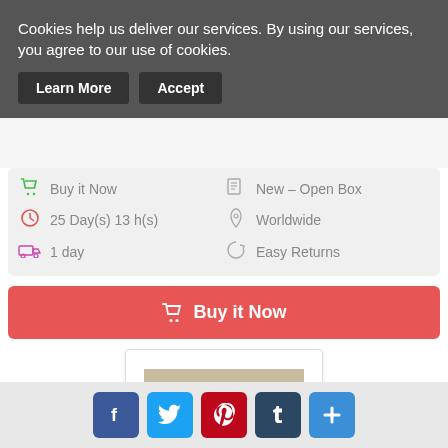Cookies help us deliver our services. By using our services, you agree to our use of cookies.
Learn More  Accept
Buy it Now
New – Open Box
25 Day(s) 13 h(s)
Worldwide
1 day
Easy Returns
Buy it Now
[Figure (photo): Photo of RF Explorer Antenna accessories laid out on a surface including flat patch antennas and a long whip antenna]
RF Explorer Antenna's
$89.00
[Figure (infographic): Social media sharing buttons: Facebook, Twitter, Pinterest, Tumblr, and a plus/share button]